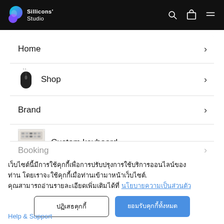Sillicons' Studio
Home
Shop
Brand
Custom keyboard
Booking
เว็บไซต์นี้มีการใช้คุกกี้เพื่อการปรับปรุงการใช้บริการออนไลน์ของท่าน โดยเราจะใช้คุกกี้เมื่อท่านเข้ามาหน้าเว็บไซต์. คุณสามารถอ่านรายละเอียดเพิ่มเติมได้ที่ นโยบายความเป็นส่วนตัว
ปฏิเสธคุกกี้
ยอมรับคุกกี้ทั้งหมด
Help & Support